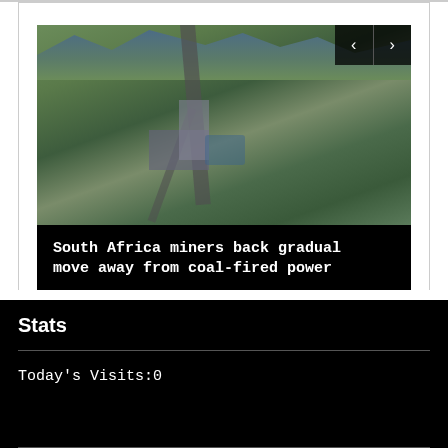[Figure (photo): Aerial drone photograph of a South African mining facility surrounded by green hills and mountains, with roads and industrial buildings visible]
South Africa miners back gradual move away from coal-fired power
Stats
Today's Visits:0